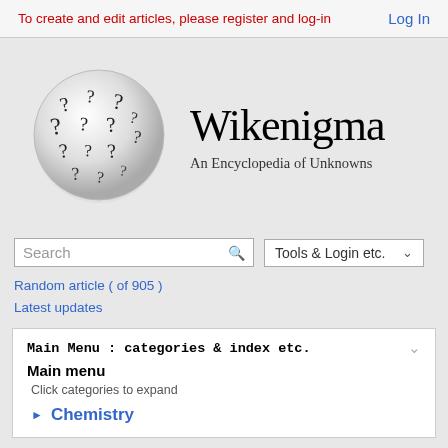To create and edit articles, please register and log-in
Log In
[Figure (logo): Wikenigma globe logo made of question marks]
Wikenigma
An Encyclopedia of Unknowns
Search
Tools & Login etc.
Random article ( of 905 )
Latest updates
Main Menu : categories & index etc.
Main menu
Click categories to expand
Chemistry